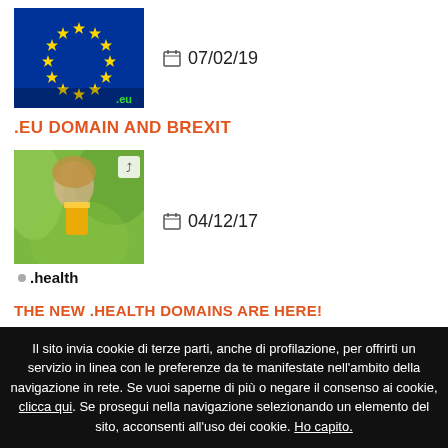[Figure (photo): EU flag image with blue background and yellow stars, .eu domain label in green]
07/02/19
.EU DOMAIN AND BREXIT
[Figure (photo): .health domain banner with woman holding orange juice glass, green background]
04/12/17
THE NEW .HEALTH DOMAINS ARE HERE!
[Figure (photo): Partially visible image blocks - grey and red]
Il sito invia cookie di terze parti, anche di profilazione, per offrirti un servizio in linea con le preferenze da te manifestate nell'ambito della navigazione in rete. Se vuoi saperne di più o negare il consenso ai cookie, clicca qui. Se prosegui nella navigazione selezionando un elemento del sito, acconsenti all'uso dei cookie. Ho capito.